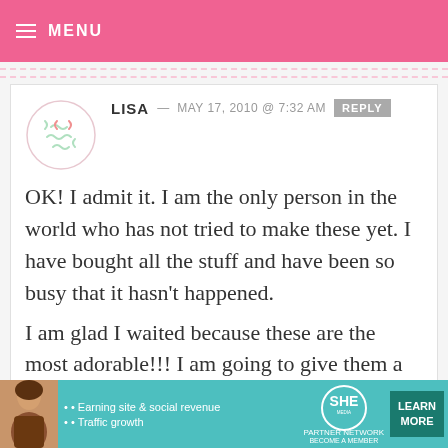MENU
LISA — MAY 17, 2010 @ 7:32 AM  REPLY

OK! I admit it. I am the only person in the world who has not tried to make these yet. I have bought all the stuff and have been so busy that it hasn't happened.
I am glad I waited because these are the most adorable!!! I am going to give them a try this week!! Fingers crossed
[Figure (infographic): SHE Partner Network ad banner with photo of woman, bullet points about earning site & social revenue and traffic growth, SHE logo, and Learn More button]